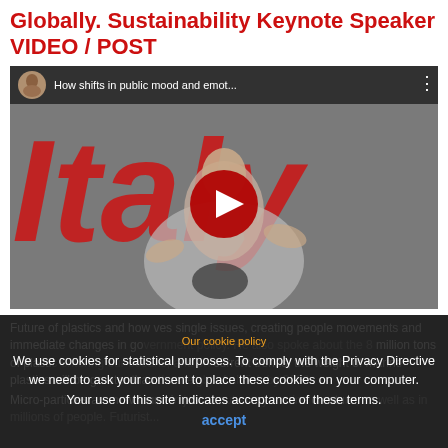Globally. Sustainability Keynote Speaker VIDEO / POST
[Figure (screenshot): YouTube video thumbnail showing a speaker gesturing on stage with 'Italy' text in red behind him. Video title: 'How shifts in public mood and emot...' with a play button overlay.]
Future of plastics and how this involves single issues, creating people movements and immediate changes in government policy. He also spoke about the 8 million tons of plastic entering our oceans, and on current trends, the weight of marine plastics will be greater than the weight of all fish by 2050.
Micro-particles are now found in just about every marine creature, as well as in millions of people. Futurist...